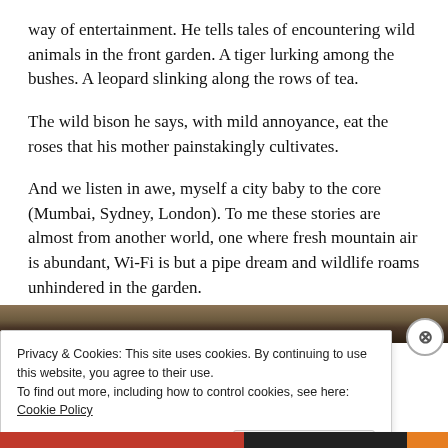way of entertainment.  He tells tales of encountering wild animals in the front garden.  A tiger lurking among the bushes.  A leopard slinking along the rows of tea.
The wild bison he says, with mild annoyance, eat the roses that his mother painstakingly cultivates.
And we listen in awe, myself a city baby to the core (Mumbai, Sydney, London).  To me these stories are almost from another world, one where fresh mountain air is abundant, Wi-Fi is but a pipe dream and wildlife roams unhindered in the garden.
[Figure (photo): A dark image strip showing what appears to be an outdoor/nature scene, partially obscured by a cookie consent banner overlay.]
Privacy & Cookies: This site uses cookies. By continuing to use this website, you agree to their use.
To find out more, including how to control cookies, see here: Cookie Policy
Close and accept